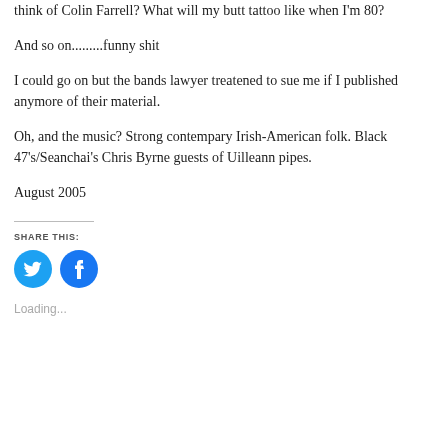think of Colin Farrell? What will my butt tattoo like when I'm 80?
And so on.........funny shit
I could go on but the bands lawyer treatened to sue me if I published anymore of their material.
Oh, and the music? Strong contempary Irish-American folk. Black 47's/Seanchai's Chris Byrne guests of Uilleann pipes.
August 2005
SHARE THIS:
[Figure (infographic): Twitter and Facebook social share buttons (circular blue icons)]
Loading...